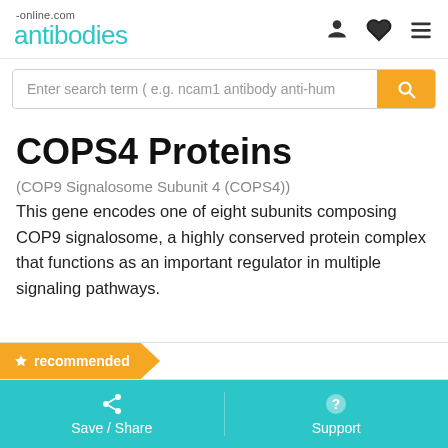antibodies-online.com
Enter search term ( e.g. ncam1 antibody anti-hum
COPS4 Proteins
(COP9 Signalosome Subunit 4 (COPS4))
This gene encodes one of eight subunits composing COP9 signalosome, a highly conserved protein complex that functions as an important regulator in multiple signaling pathways.
★ recommended
Save / Share    Support